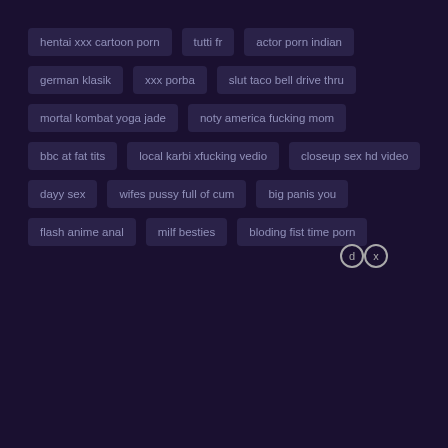hentai xxx cartoon porn
tutti fr
actor porn indian
german klasik
xxx porba
slut taco bell drive thru
mortal kombat yoga jade
noty america fucking mom
bbc at fat tits
local karbi xfucking vedio
closeup sex hd video
dayy sex
wifes pussy full of cum
big panis you
flash anime anal
milf besties
bloding fist time porn